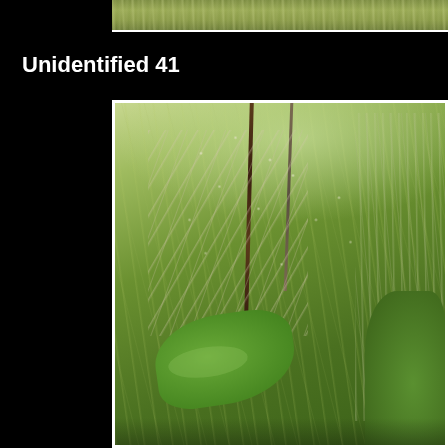[Figure (photo): Partial top strip showing grass/plant photograph at the top of the page, cropped]
Unidentified 41
[Figure (photo): Close-up photograph of an unidentified plant with fine branching seed heads/panicles, dark central stem, larger green leaf at bottom, set against a background of green grass]